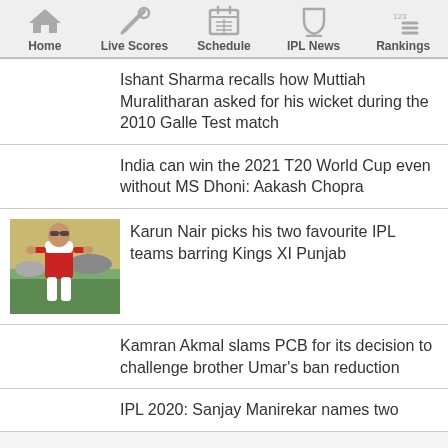Home | Live Scores | Schedule | IPL News | Rankings
Ishant Sharma recalls how Muttiah Muralitharan asked for his wicket during the 2010 Galle Test match
India can win the 2021 T20 World Cup even without MS Dhoni: Aakash Chopra
[Figure (photo): Cricket player (Karun Nair) in red and white jersey on a cricket field]
Karun Nair picks his two favourite IPL teams barring Kings XI Punjab
Kamran Akmal slams PCB for its decision to challenge brother Umar's ban reduction
IPL 2020: Sanjay Manirekar names two